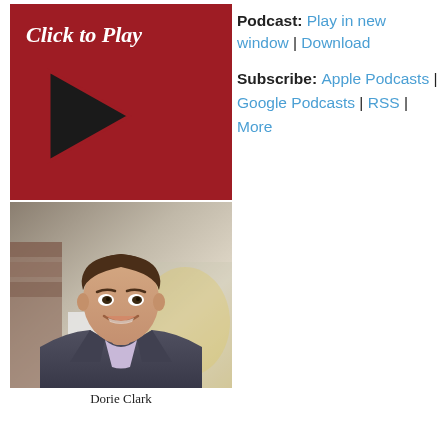[Figure (other): Red podcast player button with 'Click to Play' text and a triangular play arrow icon on dark red background]
Podcast: Play in new window | Download
Subscribe: Apple Podcasts | Google Podcasts | RSS | More
[Figure (photo): Professional headshot photo of Dorie Clark, a woman with short brown hair wearing a gray blazer and light purple shirt, smiling at the camera]
Dorie Clark